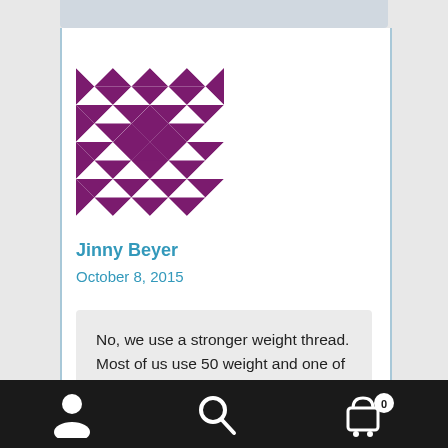[Figure (illustration): Quilt pattern logo — purple and white diamond/checkerboard geometric pattern in a square]
Jinny Beyer
October 8, 2015
No, we use a stronger weight thread. Most of us use 50 weight and one of us even uses YLI hand quilting thread, 40 weight, because it doesn't knot.
[Figure (infographic): Bottom navigation bar with user/account icon, search icon, and shopping cart icon with badge showing 0]